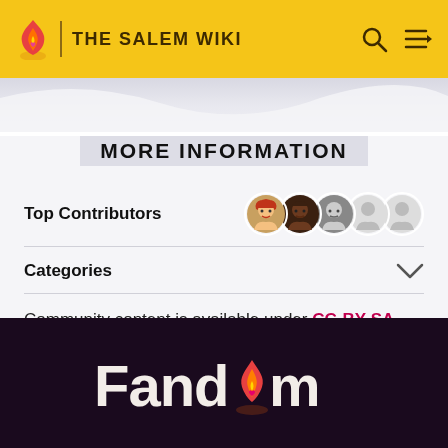THE SALEM WIKI
MORE INFORMATION
Top Contributors
Categories
Community content is available under CC-BY-SA unless otherwise noted.
[Figure (logo): Fandom logo in white and pink on dark purple background]